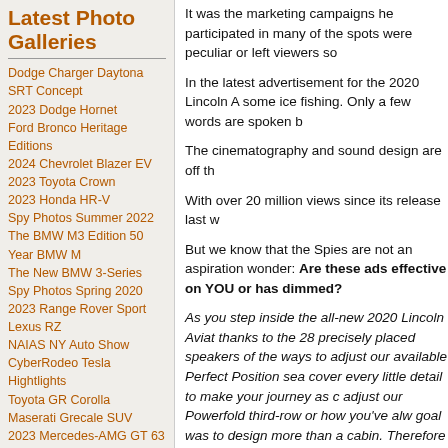Latest Photo Galleries
Dodge Charger Daytona SRT Concept
2023 Dodge Hornet
Ford Bronco Heritage Editions
2024 Chevrolet Blazer EV
2023 Toyota Crown
2023 Honda HR-V
Spy Photos Summer 2022
The BMW M3 Edition 50 Year BMW M
The New BMW 3-Series
Spy Photos Spring 2020
2023 Range Rover Sport
Lexus RZ
NAIAS NY Auto Show
CyberRodeo Tesla Hightlights
Toyota GR Corolla
Maserati Grecale SUV
2023 Mercedes-AMG GT 63 and GT 63 S 4-Door Coupe
2023 Acura Integra
2023 Toyota Sequoia
It was the marketing campaigns he participated in many of the spots were peculiar or left viewers so
In the latest advertisement for the 2020 Lincoln A some ice fishing. Only a few words are spoken b
The cinematography and sound design are off th
With over 20 million views since its release last w
But we know that the Spies are not an aspiration wonder: Are these ads effective on YOU or has dimmed?
As you step inside the all-new 2020 Lincoln Aviat thanks to the 28 precisely placed speakers of the ways to adjust our available Perfect Position sea cover every little detail to make your journey as c adjust our Powerfold third-row or how you've alw goal was to design more than a cabin. Therefore
[Figure (photo): Dark/black image area at bottom right of page]